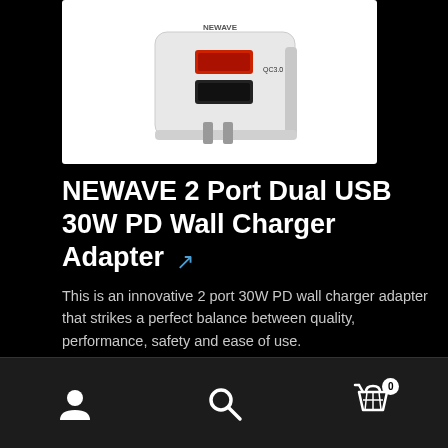[Figure (photo): White NEWAVE 2-port USB wall charger adapter with QC3.0 label and red/black USB ports, shown on white background]
NEWAVE 2 Port Dual USB 30W PD Wall Charger Adapter
This is an innovative 2 port 30W PD wall charger adapter that strikes a perfect balance between quality, performance, safety and ease of use.
Add for $20.68 $19.65
[Figure (photo): Black smartphone shown at an angle on white background, partially visible at bottom of page]
User account | Search | Cart (0)